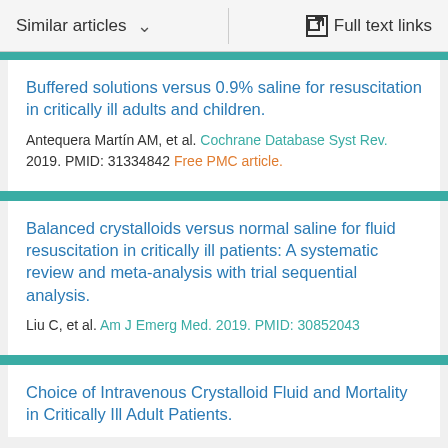Similar articles   Full text links
Buffered solutions versus 0.9% saline for resuscitation in critically ill adults and children.
Antequera Martín AM, et al. Cochrane Database Syst Rev. 2019. PMID: 31334842 Free PMC article.
Balanced crystalloids versus normal saline for fluid resuscitation in critically ill patients: A systematic review and meta-analysis with trial sequential analysis.
Liu C, et al. Am J Emerg Med. 2019. PMID: 30852043
Choice of Intravenous Crystalloid Fluid and Mortality in Critically Ill Adult Patients.